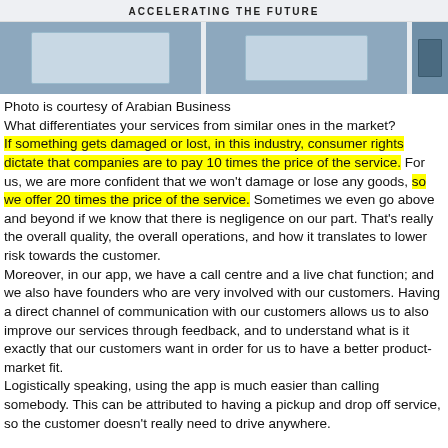ACCELERATING THE FUTURE
[Figure (photo): Photo of shelving units or storage boxes in a warehouse/logistics facility, courtesy of Arabian Business]
Photo is courtesy of Arabian Business
What differentiates your services from similar ones in the market?
If something gets damaged or lost, in this industry, consumer rights dictate that companies are to pay 10 times the price of the service. For us, we are more confident that we won’t damage or lose any goods, so we offer 20 times the price of the service. Sometimes we even go above and beyond if we know that there is negligence on our part. That’s really the overall quality, the overall operations, and how it translates to lower risk towards the customer.
Moreover, in our app, we have a call centre and a live chat function; and we also have founders who are very involved with our customers. Having a direct channel of communication with our customers allows us to also improve our services through feedback, and to understand what is it exactly that our customers want in order for us to have a better product-market fit.
Logistically speaking, using the app is much easier than calling somebody. This can be attributed to having a pickup and drop off service, so the customer doesn’t really need to drive anywhere.